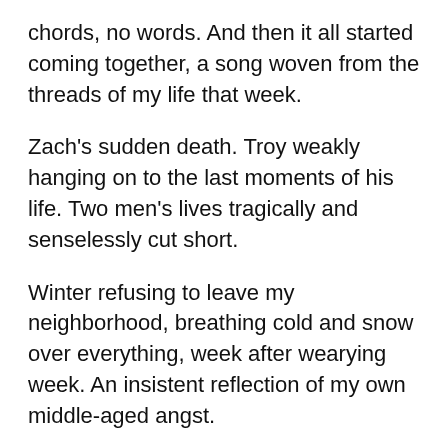chords, no words. And then it all started coming together, a song woven from the threads of my life that week.
Zach's sudden death. Troy weakly hanging on to the last moments of his life. Two men's lives tragically and senselessly cut short.
Winter refusing to leave my neighborhood, breathing cold and snow over everything, week after wearying week. An insistent reflection of my own middle-aged angst.
The physics book I've been reading, Reality is Not What it Seems, and its discussion of a 3-sphere, a current understanding of the shape of the cosmos; and how Dante envisioned it.